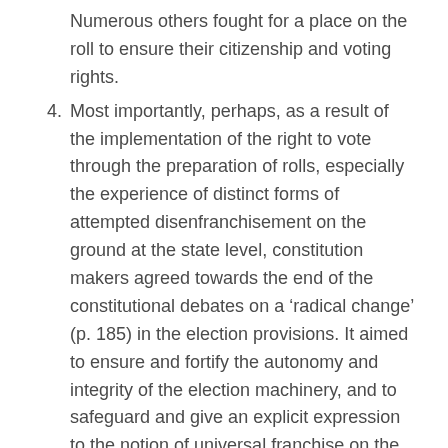Numerous others fought for a place on the roll to ensure their citizenship and voting rights.
Most importantly, perhaps, as a result of the implementation of the right to vote through the preparation of rolls, especially the experience of distinct forms of attempted disenfranchisement on the ground at the state level, constitution makers agreed towards the end of the constitutional debates on a ‘radical change’ (p. 185) in the election provisions. It aimed to ensure and fortify the autonomy and integrity of the election machinery, and to safeguard and give an explicit expression to the notion of universal franchise on the basis of a single joint electoral roll. The new article stipulated that the election machinery for all elections to